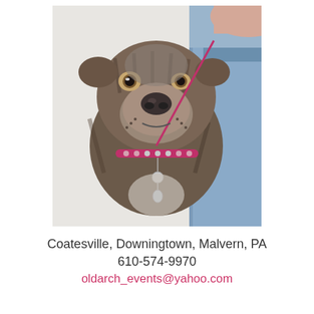[Figure (photo): A brindle pit bull dog wearing a pink collar and leash being held by a person in a denim jacket. The dog is looking at the camera.]
Coatesville, Downingtown, Malvern, PA
610-574-9970
oldarch_events@yahoo.com